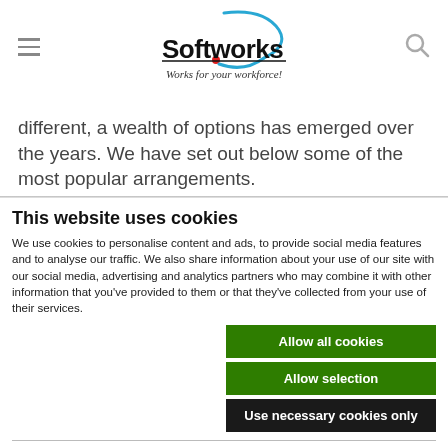Softworks — Works for your workforce!
different, a wealth of options has emerged over the years. We have set out below some of the most popular arrangements.
This website uses cookies
We use cookies to personalise content and ads, to provide social media features and to analyse our traffic. We also share information about your use of our site with our social media, advertising and analytics partners who may combine it with other information that you've provided to them or that they've collected from your use of their services.
Allow all cookies | Allow selection | Use necessary cookies only
Necessary  Preferences  Statistics  Marketing  Show details